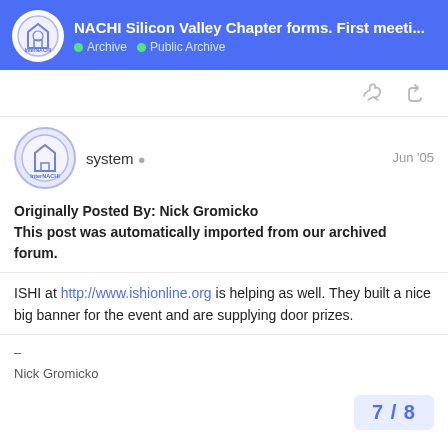NACHI Silicon Valley Chapter forms. First meeti... | Archive | Public Archive
system Jun '05
Originally Posted By: Nick Gromicko
This post was automatically imported from our archived forum.
ISHI at http://www.ishionline.org is helping as well. They built a nice big banner for the event and are supplying door prizes.
–
Nick Gromicko
7 / 8